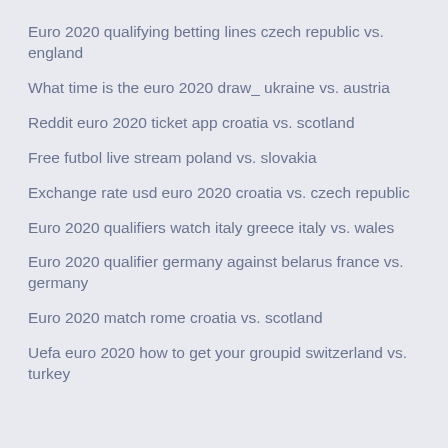Euro 2020 qualifying betting lines czech republic vs. england
What time is the euro 2020 draw_ ukraine vs. austria
Reddit euro 2020 ticket app croatia vs. scotland
Free futbol live stream poland vs. slovakia
Exchange rate usd euro 2020 croatia vs. czech republic
Euro 2020 qualifiers watch italy greece italy vs. wales
Euro 2020 qualifier germany against belarus france vs. germany
Euro 2020 match rome croatia vs. scotland
Uefa euro 2020 how to get your groupid switzerland vs. turkey